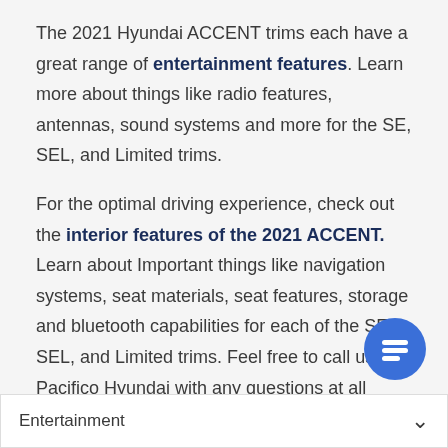The 2021 Hyundai ACCENT trims each have a great range of entertainment features. Learn more about things like radio features, antennas, sound systems and more for the SE, SEL, and Limited trims.

For the optimal driving experience, check out the interior features of the 2021 ACCENT. Learn about Important things like navigation systems, seat materials, seat features, storage and bluetooth capabilities for each of the SE, SEL, and Limited trims. Feel free to call us at Pacifico Hyundai with any questions at all about buying or leasing the 2021 Hyundai ACCENT!
[Figure (other): Blue circular chat button with white speech bubble / lines icon]
| Entertainment |
| --- |